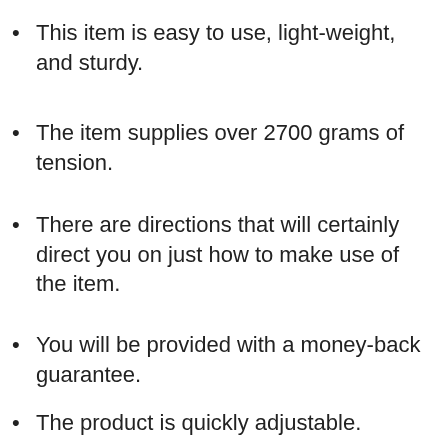This item is easy to use, light-weight, and sturdy.
The item supplies over 2700 grams of tension.
There are directions that will certainly direct you on just how to make use of the item.
You will be provided with a money-back guarantee.
The product is quickly adjustable.
The SizeGenetics Firm areas customer